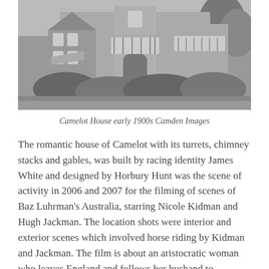[Figure (photo): Black and white photograph of Camelot House in the early 1900s, showing a large multi-storey Victorian house with turrets, balconies, arched entrance and surrounding garden shrubs and trees.]
Camelot House early 1900s Camden Images
The romantic house of Camelot with its turrets, chimney stacks and gables, was built by racing identity James White and designed by Horbury Hunt was the scene of activity in 2006 and 2007 for the filming of scenes of Baz Luhrman's Australia, starring Nicole Kidman and Hugh Jackman. The location shots were interior and exterior scenes which involved horse riding by Kidman and Jackman. The film is about an aristocratic woman who leaves England and follows her husband to Australia